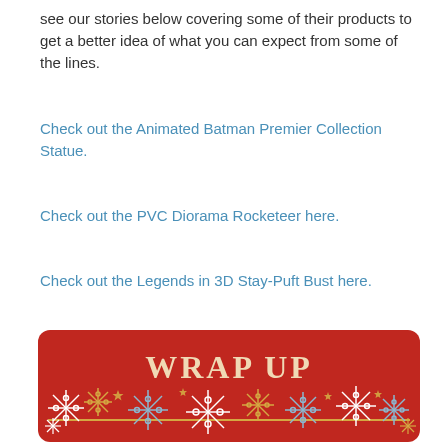see our stories below covering some of their products to get a better idea of what you can expect from some of the lines.
Check out the Animated Batman Premier Collection Statue.
Check out the PVC Diorama Rocketeer here.
Check out the Legends in 3D Stay-Puft Bust here.
[Figure (illustration): Red banner with 'WRAP UP' text in cream/white serif font, decorated with colorful snowflakes in white, blue, and gold on a red background with a gold horizontal line near the bottom.]